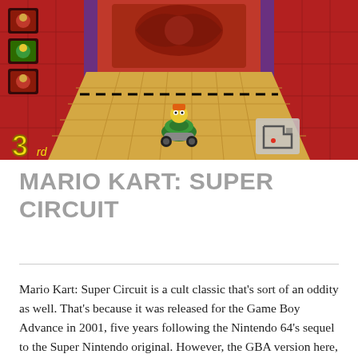[Figure (screenshot): Mario Kart: Super Circuit GBA gameplay screenshot showing a kart racer (Koopa Troopa in green shell kart) on a tan/gold track with red ornate walls, dashed black start/finish line, position HUD showing '3rd', player icons on left, and a mini-map in the bottom right corner.]
MARIO KART: SUPER CIRCUIT
Mario Kart: Super Circuit is a cult classic that's sort of an oddity as well. That's because it was released for the Game Boy Advance in 2001, five years following the Nintendo 64's sequel to the Super Nintendo original. However, the GBA version here, despite being a 32-bit